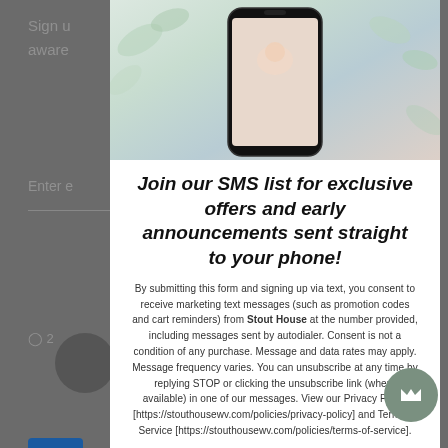[Figure (screenshot): Background of a website showing partial elements: 'Sign up' text, email input field with arrow, payment icons (AMEX, Apple Pay), 'United S' text]
[Figure (photo): Phone displaying a baby photo, surrounded by leafy background, shown at top of modal popup]
Join our SMS list for exclusive offers and early announcements sent straight to your phone!
By submitting this form and signing up via text, you consent to receive marketing text messages (such as promotion codes and cart reminders) from Stout House at the number provided, including messages sent by autodialer. Consent is not a condition of any purchase. Message and data rates may apply. Message frequency varies. You can unsubscribe at any time by replying STOP or clicking the unsubscribe link (where available) in one of our messages. View our Privacy Policy [https://stouthousewv.com/policies/privacy-policy] and Terms of Service [https://stouthousewv.com/policies/terms-of-service].
Sign me up!